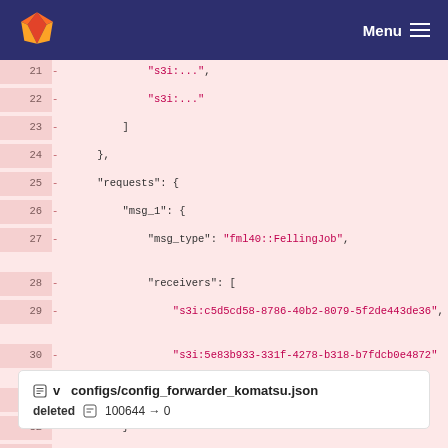Menu
[Figure (screenshot): GitLab diff view showing deleted lines 21-34 of a JSON configuration file with pink/red background, including code with s3i:..., requests, msg_1, msg_type, fml40::FellingJob, receivers, and s3i UUIDs.]
configs/config_forwarder_komatsu.json
deleted  100644 → 0